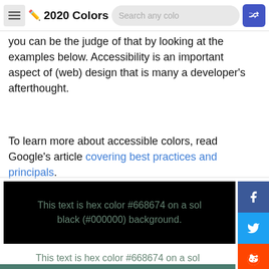2020 Colors — navigation bar with hamburger, pencil icon, search, and shuffle button
you can be the judge of that by looking at the examples below. Accessibility is an important aspect of (web) design that is many a developer's afterthought.
To learn more about accessible colors, read Google's article covering best practices and principals.
[Figure (screenshot): Black background color demo box showing text 'This text is hex color #668674 on a solid black (#000000) background.' in color #668674]
[Figure (screenshot): White background color demo box showing text 'This text is hex color #668674 on a solid white (#ffffff) background.' in color #668674]
[Figure (screenshot): Green/teal background partially visible at bottom of page]